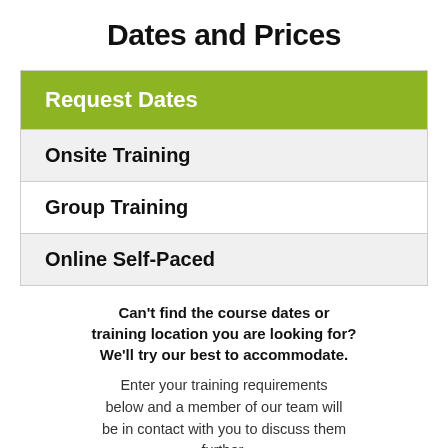Dates and Prices
Request Dates
Onsite Training
Group Training
Online Self-Paced
Can’t find the course dates or training location you are looking for? We’ll try our best to accommodate.
Enter your training requirements below and a member of our team will be in contact with you to discuss them further.